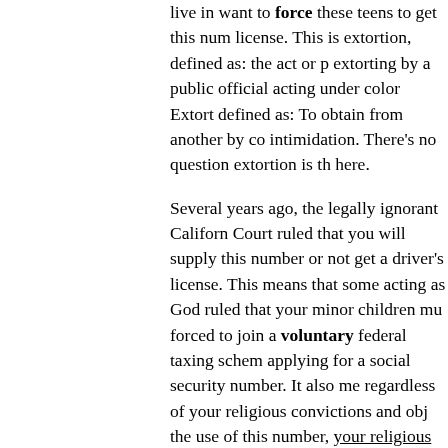live in want to force these teens to get this number license. This is extortion, defined as: the act or extorting by a public official acting under color. Extort defined as: To obtain from another by co intimidation. There's no question extortion is th here.
Several years ago, the legally ignorant Californ Court ruled that you will supply this number or not get a driver's license. This means that some acting as God ruled that your minor children mu forced to join a voluntary federal taxing schem applying for a social security number. It also me regardless of your religious convictions and obj the use of this number, your religious beliefs wi violated. If I were Governor of California when came down, I would have done everything in m impeach every State Supreme Justice who voted ruling. If these clowns don't know the law, then no right sitting on the bench.
This is the absolute bottom line on the issue of s security numbers and driver's licenses: How can force you or your minor child into a voluntary taxing program that you are not required to joi to be able to drive a car to earn your bread or fr